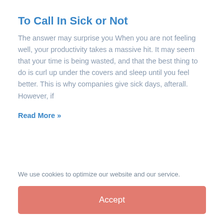To Call In Sick or Not
The answer may surprise you When you are not feeling well, your productivity takes a massive hit. It may seem that your time is being wasted, and that the best thing to do is curl up under the covers and sleep until you feel better. This is why companies give sick days, afterall. However, if
Read More »
We use cookies to optimize our website and our service.
Accept